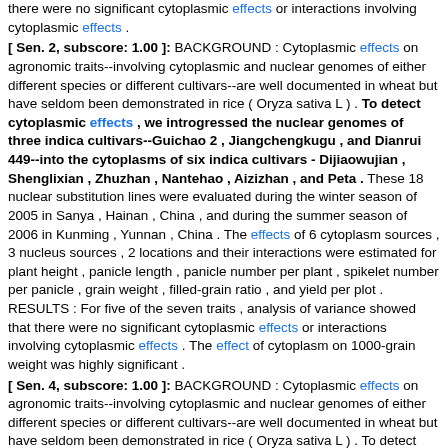there were no significant cytoplasmic effects or interactions involving cytoplasmic effects .
[ Sen. 2, subscore: 1.00 ]: BACKGROUND : Cytoplasmic effects on agronomic traits--involving cytoplasmic and nuclear genomes of either different species or different cultivars--are well documented in wheat but have seldom been demonstrated in rice ( Oryza sativa L ) . To detect cytoplasmic effects , we introgressed the nuclear genomes of three indica cultivars--Guichao 2 , Jiangchengkugu , and Dianrui 449--into the cytoplasms of six indica cultivars - Dijiaowujian , Shenglixian , Zhuzhan , Nantehao , Aizizhan , and Peta . These 18 nuclear substitution lines were evaluated during the winter season of 2005 in Sanya , Hainan , China , and during the summer season of 2006 in Kunming , Yunnan , China . The effects of 6 cytoplasm sources , 3 nucleus sources , 2 locations and their interactions were estimated for plant height , panicle length , panicle number per plant , spikelet number per panicle , grain weight , filled-grain ratio , and yield per plot . RESULTS : For five of the seven traits , analysis of variance showed that there were no significant cytoplasmic effects or interactions involving cytoplasmic effects . The effect of cytoplasm on 1000-grain weight was highly significant .
[ Sen. 4, subscore: 1.00 ]: BACKGROUND : Cytoplasmic effects on agronomic traits--involving cytoplasmic and nuclear genomes of either different species or different cultivars--are well documented in wheat but have seldom been demonstrated in rice ( Oryza sativa L ) . To detect cytoplasmic effects , we introgressed the nuclear genomes of three indica cultivars--Guichao 2 , Jiangchengkugu , and Dianrui 449--into the cytoplasms of six indica cultivars - Dijiaowujian , Shenglixian , Zhuzhan , Nantehao , Aizizhan , and Peta . These 18 nuclear substitution lines were evaluated during the winter season of 2005 in Sanya , Hainan , China , and during the summer season of 2006 in Kunming , Yunnan ,